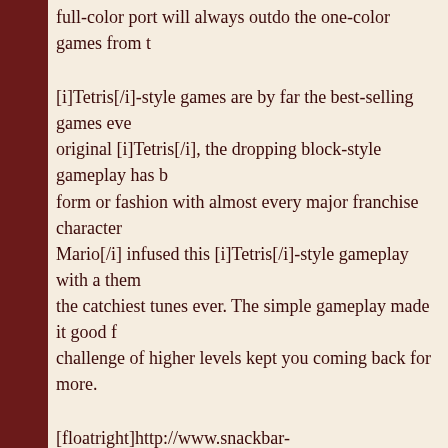full-color port will always outdo the one-color games from th...
[i]Tetris[/i]-style games are by far the best-selling games ever... original [i]Tetris[/i], the dropping block-style gameplay has b... form or fashion with almost every major franchise character ... Mario[/i] infused this [i]Tetris[/i]-style gameplay with a them... the catchiest tunes ever. The simple gameplay made it good f... challenge of higher levels kept you coming back for more.
[floatright]http://www.snackbar-games.com/images/reviews/drmario/ss02_thumb.jpg[/floatrig... game is a simple port from the NES version, so there is nothi... have played it on NES, then you are familiar with the GBA v... haven't, the game obviously takes on a medical-related theme... medicine bottle that is full of dancing viruses that are blue, re... [i]Tetris[/i]-shaped blocks, you get colored pills. The pills are... taking on one of the three colors. The pills run the full combi...